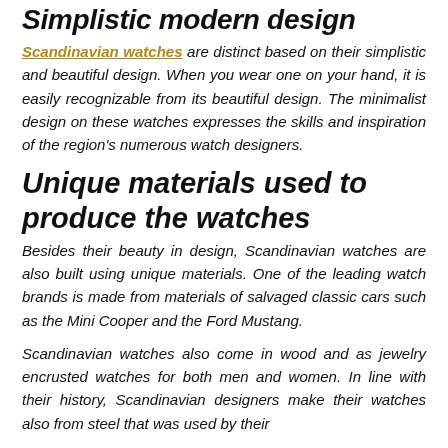Simplistic modern design
Scandinavian watches are distinct based on their simplistic and beautiful design. When you wear one on your hand, it is easily recognizable from its beautiful design. The minimalist design on these watches expresses the skills and inspiration of the region's numerous watch designers.
Unique materials used to produce the watches
Besides their beauty in design, Scandinavian watches are also built using unique materials. One of the leading watch brands is made from materials of salvaged classic cars such as the Mini Cooper and the Ford Mustang.
Scandinavian watches also come in wood and as jewelry encrusted watches for both men and women. In line with their history, Scandinavian designers make their watches also from steel that was used by their